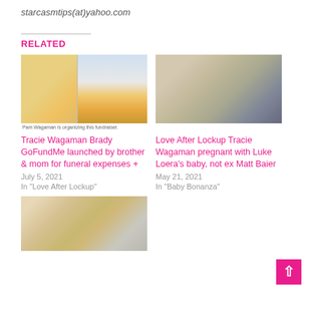starcasmtips(at)yahoo.com
RELATED
[Figure (photo): Thumbnail image for Tracie Wagaman Brady GoFundMe article, showing a woman with pink hair and a GoFundMe fundraiser screenshot]
Tracie Wagaman Brady GoFundMe launched by brother & mom for funeral expenses +
July 5, 2021
In "Love After Lockup"
[Figure (photo): Thumbnail image for Love After Lockup Tracie Wagaman article showing a woman and man in a selfie]
Love After Lockup Tracie Wagaman pregnant with Luke Loera's baby, not ex Matt Baier
May 21, 2021
In "Baby Bonanza"
[Figure (photo): Thumbnail image showing a blonde woman smiling]